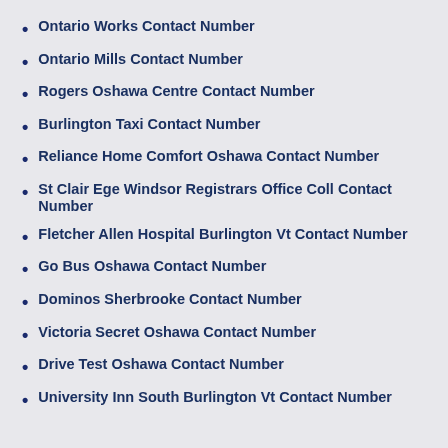Ontario Works Contact Number
Ontario Mills Contact Number
Rogers Oshawa Centre Contact Number
Burlington Taxi Contact Number
Reliance Home Comfort Oshawa Contact Number
St Clair Ege Windsor Registrars Office Coll Contact Number
Fletcher Allen Hospital Burlington Vt Contact Number
Go Bus Oshawa Contact Number
Dominos Sherbrooke Contact Number
Victoria Secret Oshawa Contact Number
Drive Test Oshawa Contact Number
University Inn South Burlington Vt Contact Number